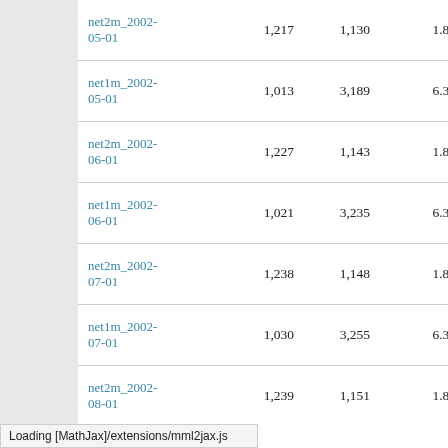| net2m_2002-05-01 | 1,217 | 1,130 | 1.86 | 1.99 |
| net1m_2002-05-01 | 1,013 | 3,189 | 6.30 | 4.60 |
| net2m_2002-06-01 | 1,227 | 1,143 | 1.86 | 2.00 |
| net1m_2002-06-01 | 1,021 | 3,235 | 6.34 | 4.60 |
| net2m_2002-07-01 | 1,238 | 1,148 | 1.85 | 2.00 |
| net1m_2002-07-01 | 1,030 | 3,255 | 6.32 | 4.56 |
| net2m_2002-08-01 | 1,239 | 1,151 | 1.86 | 1.98 |
Loading [MathJax]/extensions/mml2jax.js